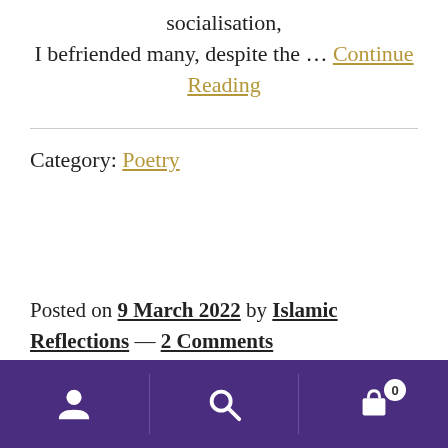socialisation, I befriended many, despite the … Continue Reading
Category: Poetry
Posted on 9 March 2022 by Islamic Reflections — 2 Comments
[Figure (infographic): Purple footer bar with user icon, search icon, and shopping cart icon with badge showing 0]